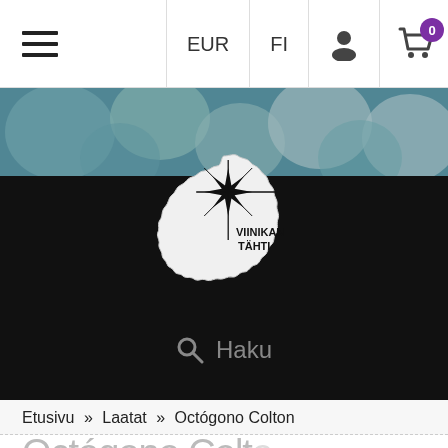[Figure (screenshot): Website navigation bar with hamburger menu, EUR currency selector, FI language selector, user account icon, and shopping cart icon with 0 badge]
[Figure (photo): Hero banner strip showing close-up of colorful glass or stone tiles in teal/blue tones]
[Figure (logo): Viinikan Tähti logo: a white circular badge/sticker shape with a black eight-pointed star and text 'VIINIKAN TÄHTI']
[Figure (screenshot): Search bar with magnifying glass icon and placeholder text 'Haku' on dark background]
Etusivu » Laatat » Octógono Colton
Octógono Colton